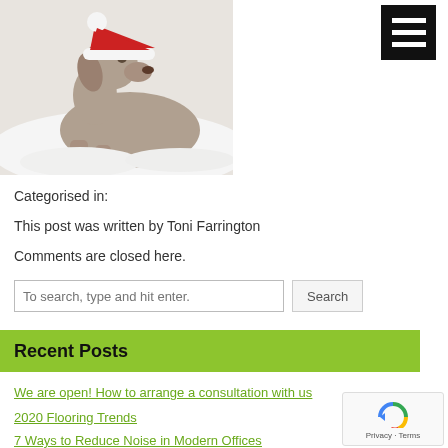[Figure (photo): A Weimaraner dog wearing a red Santa Claus hat, lying on a white fluffy rug, looking upward]
[Figure (illustration): Black hamburger/menu icon (three horizontal white lines on black background) in top right corner]
Categorised in:
This post was written by Toni Farrington
Comments are closed here.
To search, type and hit enter. Search
Recent Posts
We are open! How to arrange a consultation with us
2020 Flooring Trends
7 Ways to Reduce Noise in Modern Offices